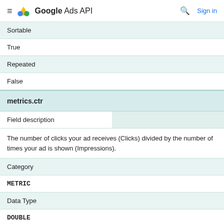Google Ads API — Sign in
| Sortable |  |
| True |  |
| Repeated |  |
| False |  |
metrics.ctr
| Field description |  |
| --- | --- |
The number of clicks your ad receives (Clicks) divided by the number of times your ad is shown (Impressions).
| Category |  |
| METRIC |  |
| Data Type |  |
| DOUBLE |  |